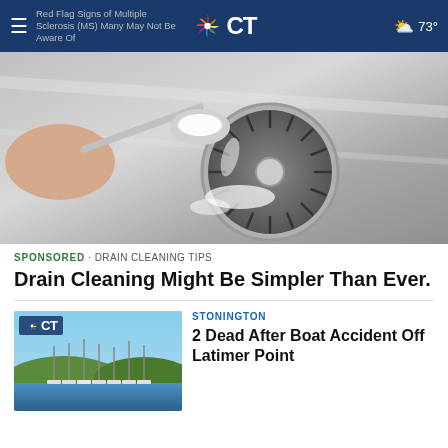Red Flag Signs of Multiple Sclerosis (MS) Many May Not Be Aware Of | NBC CT | 73°
[Figure (photo): A hand holding a metal spoon pouring white powder (baking soda) into a stainless steel kitchen sink drain]
SPONSORED · DRAIN CLEANING TIPS
Drain Cleaning Might Be Simpler Than Ever.
[Figure (photo): A marina with sailboats moored at docks, with a CT (NBC Connecticut) logo badge in the upper left corner]
STONINGTON
2 Dead After Boat Accident Off Latimer Point